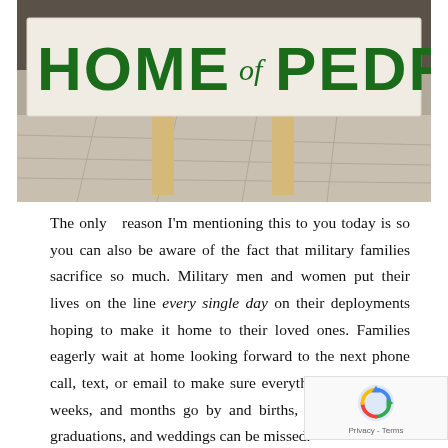[Figure (photo): A large wooden sign reading 'HOME of PEDRO' in green painted letters, propped up on wooden supports on a concrete/stone surface. The sign appears hand-painted on a white background.]
The only  reason I'm mentioning this to you today is so you can also be aware of the fact that military families sacrifice so much. Military men and women put their lives on the line every single day on their deployments hoping to make it home to their loved ones. Families eagerly wait at home looking forward to the next phone call, text, or email to make sure everything is ok. Days, weeks, and months go by and births, birthday parties, graduations, and weddings can be missed.
Freedom isn't free folks.
So while you sip on that iced cold sweet tea, eat your w... ribs, and “oooh” and “ahhh” over fireworks, remember the